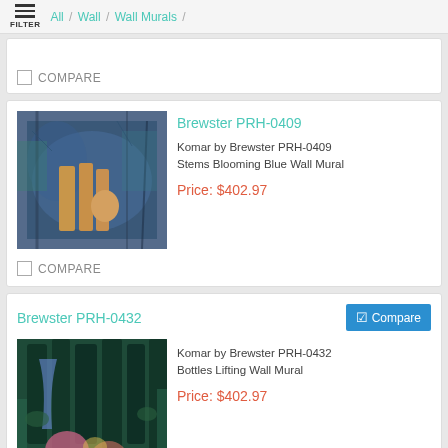FILTER / All / Wall / Wall Murals /
COMPARE
Brewster PRH-0409
Komar by Brewster PRH-0409 Stems Blooming Blue Wall Mural
Price: $402.97
COMPARE
Brewster PRH-0432
Compare
Komar by Brewster PRH-0432 Bottles Lifting Wall Mural
Price: $402.97